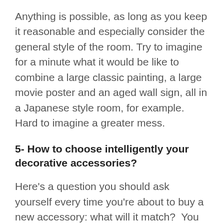Anything is possible, as long as you keep it reasonable and especially consider the general style of the room. Try to imagine for a minute what it would be like to combine a large classic painting, a large movie poster and an aged wall sign, all in a Japanese style room, for example. Hard to imagine a greater mess.
5- How to choose intelligently your decorative accessories?
Here's a question you should ask yourself every time you're about to buy a new accessory: what will it match?  You need to know if the item you want to buy has the same color as one of the accessories you already own. Does it match the texture of one of the items in the room? Does it match the overall style of the room? If you refer